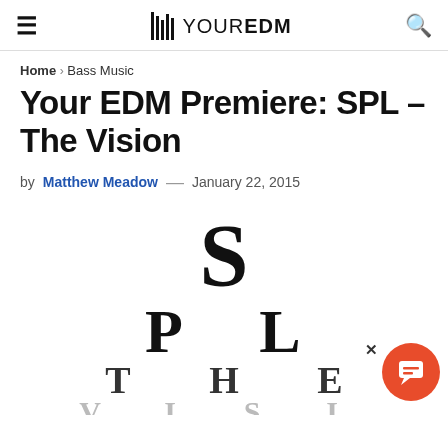YOUR EDM
Home > Bass Music
Your EDM Premiere: SPL – The Vision
by Matthew Meadow — January 22, 2015
[Figure (illustration): Eye chart style logo for SPL - The Vision, showing letters S (large, top), P L (medium, second row), T H E (smaller, third row), V I S I (smallest, bottom row), in descending size like an optometrist chart]